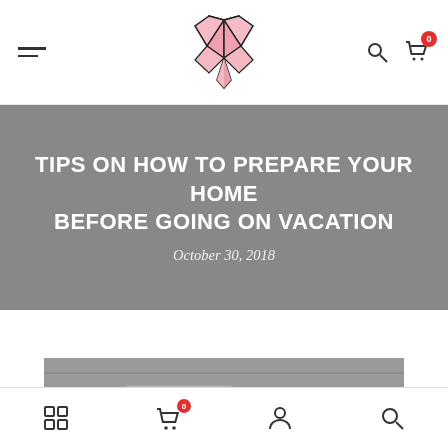Navigation bar with hamburger menu, logo, search and cart icons
TIPS ON HOW TO PREPARE YOUR HOME BEFORE GOING ON VACATION
October 30, 2018
[Figure (photo): Grayscale photo of a metal door bolt/latch on a wooden door]
Bottom navigation bar with grid, cart (0), user, and search icons